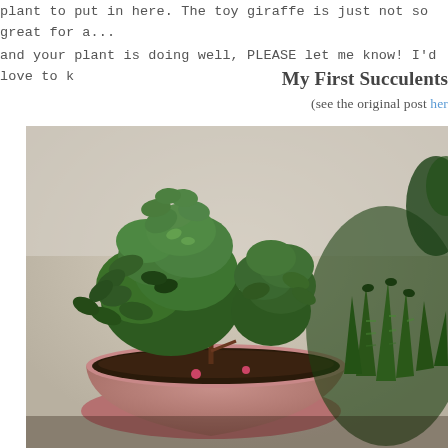plant to put in here. The toy giraffe is just not so great for a... and your plant is doing well, PLEASE let me know! I'd love to k
My First Succulents
(see the original post her
[Figure (photo): Close-up photograph of a potted succulent arrangement in a pink/terracotta colored pot, showing green jade plant and haworthia succulents with dark soil, photographed against a light background.]